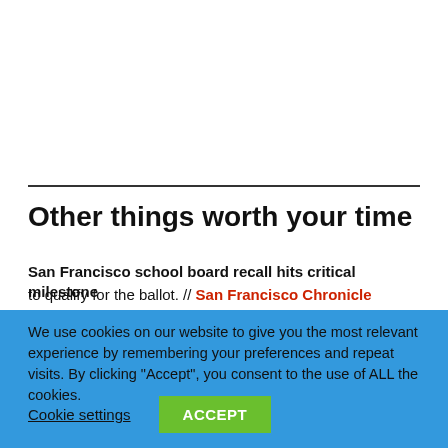Other things worth your time
San Francisco school board recall hits critical milestone to qualify for the ballot. // San Francisco Chronicle
We use cookies on our website to give you the most relevant experience by remembering your preferences and repeat visits. By clicking “Accept”, you consent to the use of ALL the cookies.
Cookie settings  ACCEPT